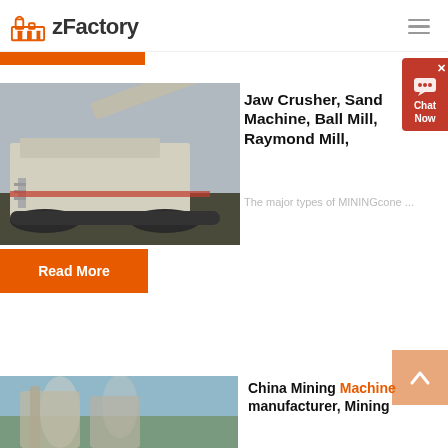zFactory
[Figure (photo): Mobile jaw crusher / mining machine on tracks at an outdoor mining site]
Jaw Crusher, Sand Machine, Ball Mill, Raymond Mill,
The major types of MININGcone ...
Read More
[Figure (photo): Second article thumbnail showing industrial mining equipment]
China Mining Machine manufacturer, Mining